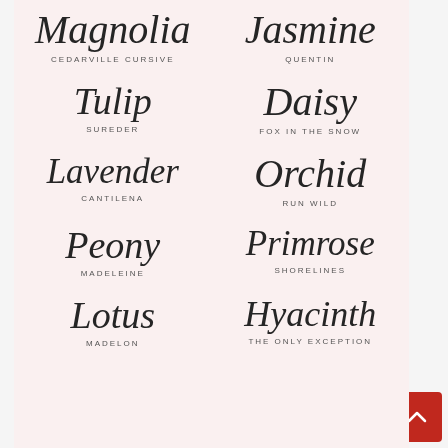[Figure (infographic): Font showcase card on pink background showing 10 script/handwriting fonts paired with their font names: Magnolia (Cedarville Cursive), Jasmine (Quentin), Tulip (Sureder), Daisy (Fox in the Snow), Lavender (Cantilena), Orchid (Run Wild), Peony (Madeleine), Primrose (Shorelines), Lotus (Madelon), Hyacinth (The Only Exception)]
It's most suitable for making website headers, logos, posters, and social media posts. · herbarium font is designed by . The 46 best